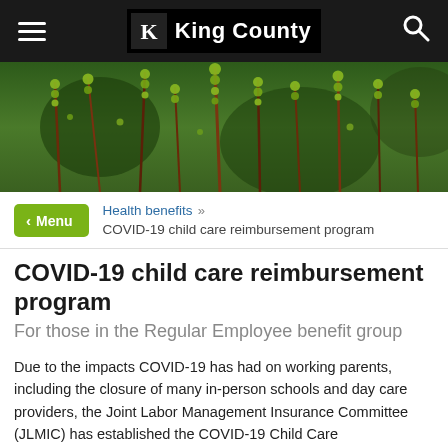King County
[Figure (photo): Close-up photo of green fern fronds and plant shoots against a blurred green background]
Menu  Health benefits » COVID-19 child care reimbursement program
COVID-19 child care reimbursement program
For those in the Regular Employee benefit group
Due to the impacts COVID-19 has had on working parents, including the closure of many in-person schools and day care providers, the Joint Labor Management Insurance Committee (JLMIC) has established the COVID-19 Child Care